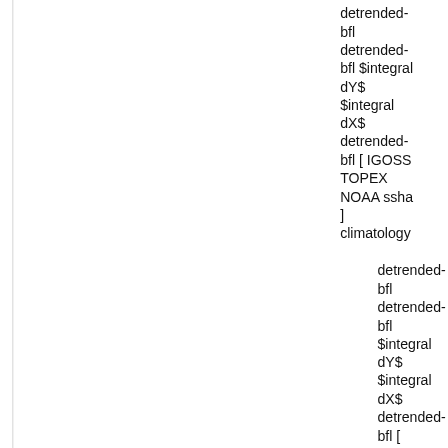detrended-bfl detrended-bfl $integral dY$ $integral dX$ detrended-bfl [ IGOSS TOPEX NOAA ssha ] climatology
detrended-bfl detrended-bfl $integral dY$ $integral dX$ detrended-bfl [